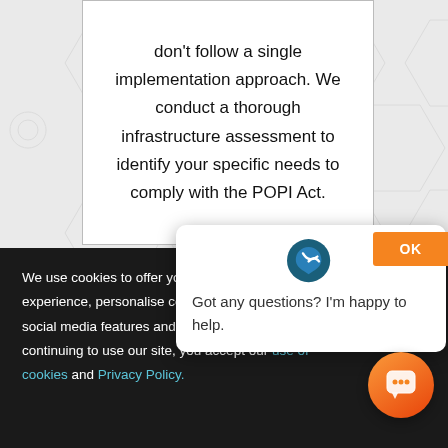don't follow a single implementation approach. We conduct a thorough infrastructure assessment to identify your specific needs to comply with the POPI Act.
Comprehensive Range of
We use cookies to offer you a better experience, personalise content, social media features and to analyse our traffic. By continuing to use our site, you accept our use of cookies and Privacy Policy.
Got any questions? I'm happy to help.